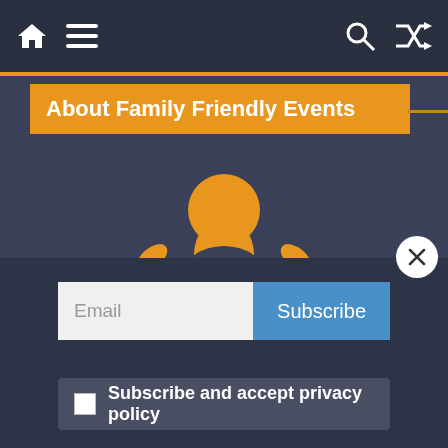Navigation bar with home, menu, search, and shuffle icons
About Family Friendly Events
[Figure (logo): Family Friendly Calendar.com logo with orange jumping figure character, green KIDS text, and orange 'Events for Kids' text below]
Email
Subscribe
Subscribe and accept privacy policy